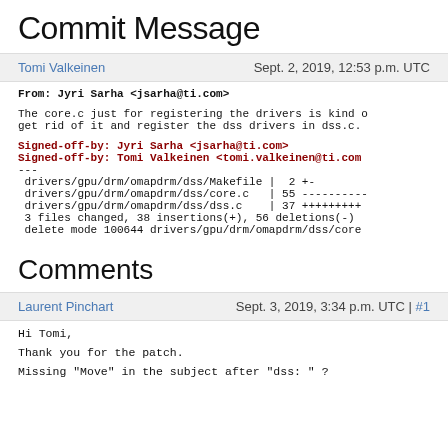Commit Message
Tomi Valkeinen    Sept. 2, 2019, 12:53 p.m. UTC
From: Jyri Sarha <jsarha@ti.com>

The core.c just for registering the drivers is kind of get rid of it and register the dss drivers in dss.c.

Signed-off-by: Jyri Sarha <jsarha@ti.com>
Signed-off-by: Tomi Valkeinen <tomi.valkeinen@ti.com>
---
 drivers/gpu/drm/omapdrm/dss/Makefile |  2 +-
 drivers/gpu/drm/omapdrm/dss/core.c   | 55 ----------
 drivers/gpu/drm/omapdrm/dss/dss.c    | 37 +++++++++
 3 files changed, 38 insertions(+), 56 deletions(-)
 delete mode 100644 drivers/gpu/drm/omapdrm/dss/core
Comments
Laurent Pinchart    Sept. 3, 2019, 3:34 p.m. UTC | #1
Hi Tomi,

Thank you for the patch.

Missing "Move" in the subject after "dss: " ?